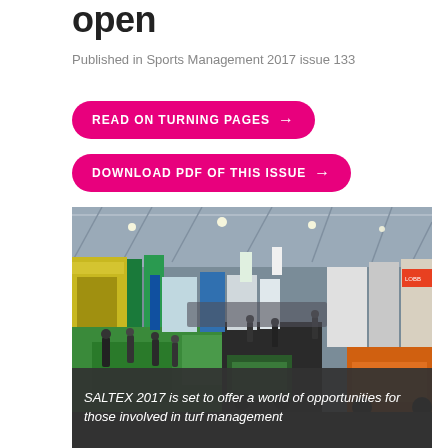open
Published in Sports Management 2017 issue 133
READ ON TURNING PAGES →
DOWNLOAD PDF OF THIS ISSUE →
[Figure (photo): Interior of a large exhibition hall showing SALTEX 2017 trade show with exhibitor booths, green turf flooring, visitors walking around, and various turf management equipment including utility vehicles. The hall has a high industrial ceiling with exposed steel trusses and lighting.]
SALTEX 2017 is set to offer a world of opportunities for those involved in turf management